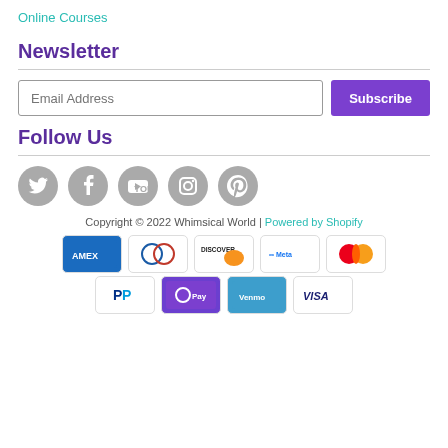Online Courses
Newsletter
Email Address [input field] Subscribe [button]
Follow Us
[Figure (infographic): Five grey circular social media icons: Twitter, Facebook, YouTube, Instagram, Pinterest]
Copyright © 2022 Whimsical World | Powered by Shopify
[Figure (infographic): Payment method icons row 1: Amex, Diners, Discover, Meta, Mastercard; row 2: PayPal, GPay, Venmo, Visa]